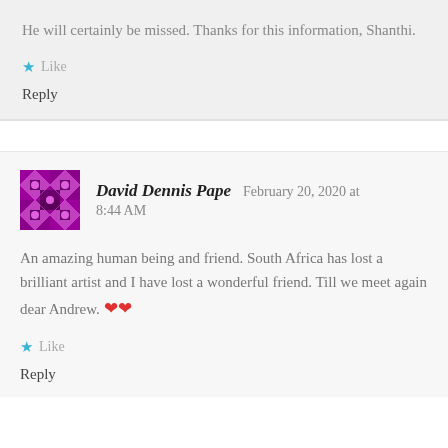He will certainly be missed. Thanks for this information, Shanthi.
★ Like
Reply
David Dennis Pape  February 20, 2020 at 8:44 AM
An amazing human being and friend. South Africa has lost a brilliant artist and I have lost a wonderful friend. Till we meet again dear Andrew. ❤❤
★ Like
Reply